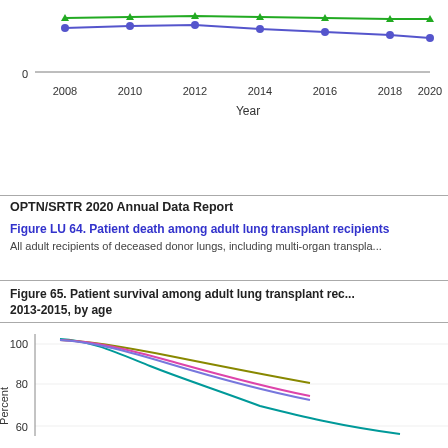[Figure (line-chart): Partial view of a line chart showing trends over years 2008-2020 with blue circle markers and green triangle markers, y-axis showing 0]
OPTN/SRTR 2020 Annual Data Report
Figure LU 64. Patient death among adult lung transplant recipients
All adult recipients of deceased donor lungs, including multi-organ transpla...
Figure 65. Patient survival among adult lung transplant recipients, 2013-2015, by age
[Figure (line-chart): Survival curve chart showing percent (y-axis 60-100) over time, with multiple colored lines (teal, pink, olive/dark yellow, blue/purple) declining from ~100% at transplant]